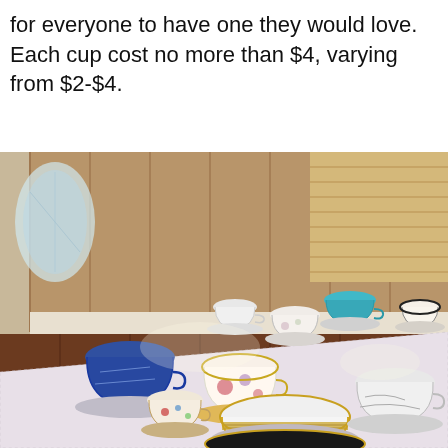for everyone to have one they would love. Each cup cost no more than $4, varying from $2-$4.
[Figure (photo): Outdoor table covered with a white lace tablecloth, set with a variety of mismatched vintage teacups and saucers including blue willow pattern, floral designs, turquoise, and gold-rimmed cups, with a wooden fence and bamboo screen in the background.]